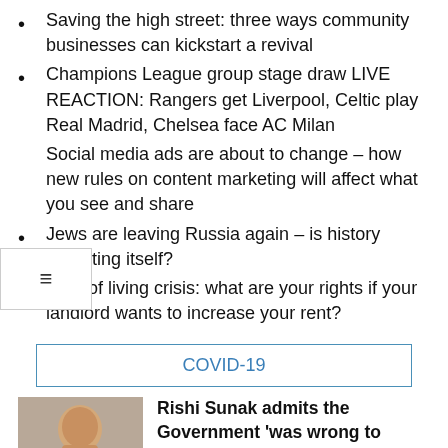Saving the high street: three ways community businesses can kickstart a revival
Champions League group stage draw LIVE REACTION: Rangers get Liverpool, Celtic play Real Madrid, Chelsea face AC Milan
Social media ads are about to change – how new rules on content marketing will affect what you see and share
Jews are leaving Russia again – is history repeating itself?
Cost of living crisis: what are your rights if your landlord wants to increase your rent?
COVID-19
[Figure (photo): Headshot photo of Rishi Sunak]
Rishi Sunak admits the Government 'was wrong to scare